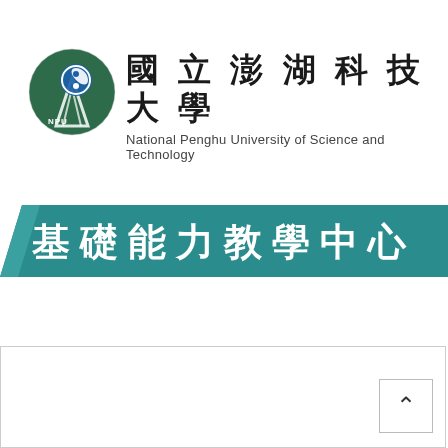[Figure (logo): National Penghu University of Science and Technology logo: circular emblem with dark green background and blue/white stylized icon, with NPU text at bottom left of the circle]
國立澎湖科技大學
National Penghu University of Science and Technology
基礎能力教學中心
[Figure (other): White box at bottom of page with an up-arrow button in the bottom-right corner]